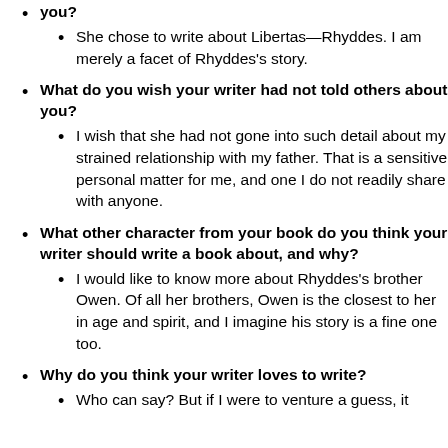you?
She chose to write about Libertas—Rhyddes. I am merely a facet of Rhyddes's story.
What do you wish your writer had not told others about you?
I wish that she had not gone into such detail about my strained relationship with my father. That is a sensitive personal matter for me, and one I do not readily share with anyone.
What other character from your book do you think your writer should write a book about, and why?
I would like to know more about Rhyddes's brother Owen. Of all her brothers, Owen is the closest to her in age and spirit, and I imagine his story is a fine one too.
Why do you think your writer loves to write?
Who can say? But if I were to venture a guess, it